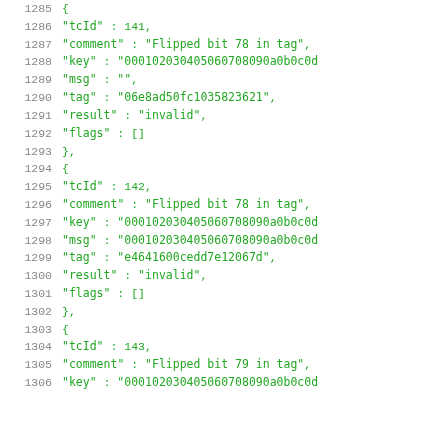Code listing lines 1285-1306 showing JSON test vector data with tcId, comment, key, msg, tag, result, and flags fields